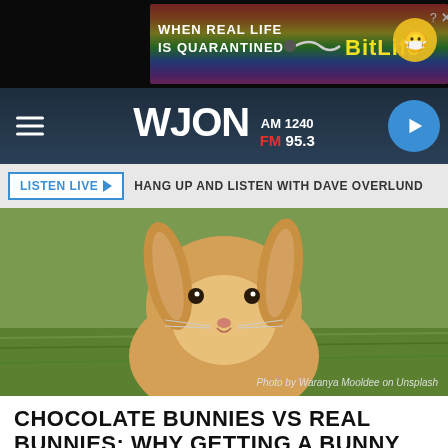[Figure (infographic): BitLife advertisement banner with rainbow colors, dark background, text 'WHEN REAL LIFE IS QUARANTINED' and 'BitLife' logo with emoji graphics]
WJON AM 1240 FM 95.3
LISTEN LIVE ▶  HANG UP AND LISTEN WITH DAVE OVERLUND
[Figure (photo): Close-up photo of a light brown lop-eared rabbit sitting on green grass, facing the camera. Photo by Waranya Mooldee on Unsplash.]
Photo by Waranya Mooldee on Unsplash
CHOCOLATE BUNNIES VS REAL BUNNIES: WHY GETTING A BUNNY